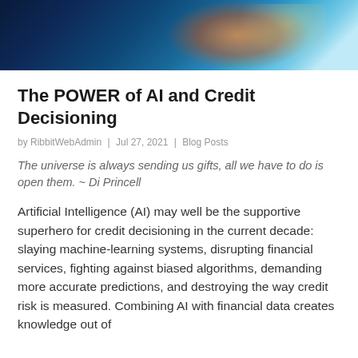[Figure (photo): Header banner image showing a futuristic AI/technology scene with orange robotic or humanoid figure against a blue-teal glowing digital background]
The POWER of AI and Credit Decisioning
by RibbitWebAdmin | Jul 27, 2021 | Blog Posts
The universe is always sending us gifts, all we have to do is open them. ~ Di Princell
Artificial Intelligence (AI) may well be the supportive superhero for credit decisioning in the current decade: slaying machine-learning systems, disrupting financial services, fighting against biased algorithms, demanding more accurate predictions, and destroying the way credit risk is measured. Combining AI with financial data creates knowledge out of